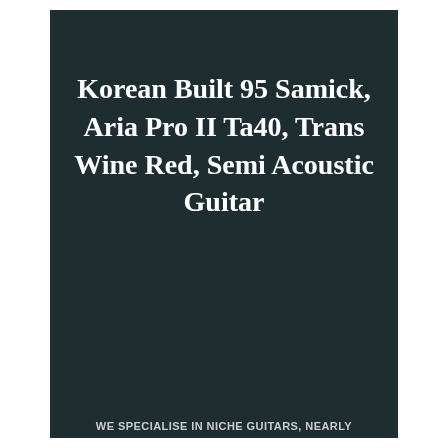Korean Built 95 Samick, Aria Pro II Ta40, Trans Wine Red, Semi Acoustic Guitar
WE SPECIALISE IN NICHE GUITARS, NEARLY